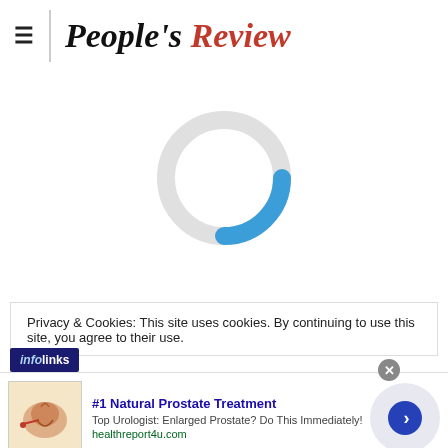[Figure (logo): People's Review newspaper logo with hamburger menu icon and vertical divider. 'People's' in bold black italic serif, 'Review' in bold red italic serif.]
[Figure (other): Loading spinner: large circular ring in light gray with a blue arc segment at the bottom-right, indicating a page loading state.]
Privacy & Cookies: This site uses cookies. By continuing to use this site, you agree to their use.
[Figure (other): Advertisement banner: '#1 Natural Prostate Treatment' with anatomical prostate image, text 'Top Urologist: Enlarged Prostate? Do This Immediately!' and URL 'healthreport4u.com', with a blue arrow button and infolinks badge.]